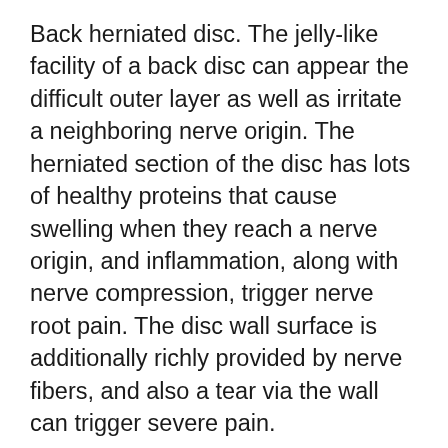Back herniated disc. The jelly-like facility of a back disc can appear the difficult outer layer as well as irritate a neighboring nerve origin. The herniated section of the disc has lots of healthy proteins that cause swelling when they reach a nerve origin, and inflammation, along with nerve compression, trigger nerve root pain. The disc wall surface is additionally richly provided by nerve fibers, and also a tear via the wall can trigger severe pain.
Degenerative disc condition. At birth, intervertebral discs have lots of water and also at their healthiest. As people age gradually, discs shed hydration as well as wear down. As the disc sheds hydration, it can not withstand forces as well, and also